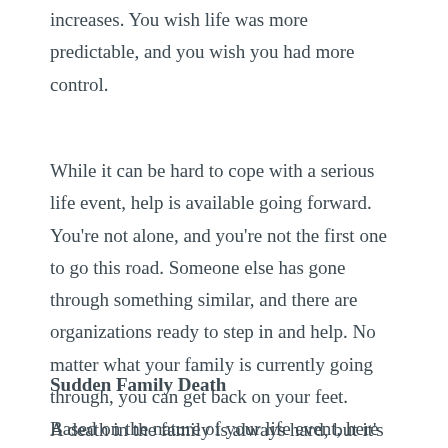increases. You wish life was more predictable, and you wish you had more control.
While it can be hard to cope with a serious life event, help is available going forward. You're not alone, and you're not the first one to go this road. Someone else has gone through something similar, and there are organizations ready to step in and help. No matter what your family is currently going through, you can get back on your feet. Based on the nature of your life event, here are some next steps for going forward.
Sudden Family Death
A death in the family is always hard, but it's